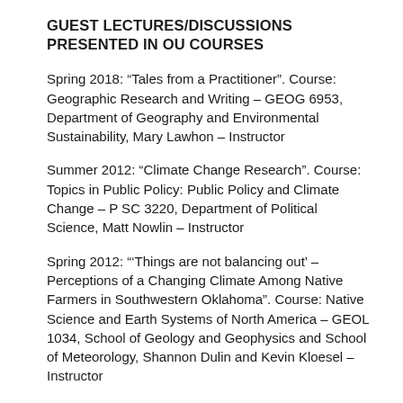GUEST LECTURES/DISCUSSIONS PRESENTED IN OU COURSES
Spring 2018: “Tales from a Practitioner”. Course: Geographic Research and Writing – GEOG 6953, Department of Geography and Environmental Sustainability, Mary Lawhon – Instructor
Summer 2012: “Climate Change Research”. Course: Topics in Public Policy: Public Policy and Climate Change – P SC 3220, Department of Political Science, Matt Nowlin – Instructor
Spring 2012: “‘Things are not balancing out’ – Perceptions of a Changing Climate Among Native Farmers in Southwestern Oklahoma”. Course: Native Science and Earth Systems of North America – GEOL 1034, School of Geology and Geophysics and School of Meteorology, Shannon Dulin and Kevin Kloesel – Instructor